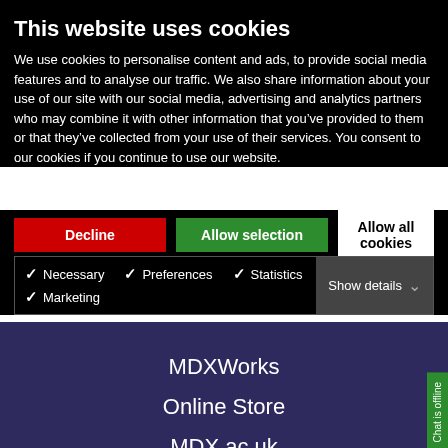This website uses cookies
We use cookies to personalise content and ads, to provide social media features and to analyse our traffic. We also share information about your use of our site with our social media, advertising and analytics partners who may combine it with other information that you've provided to them or that they've collected from your use of their services. You consent to our cookies if you continue to use our website.
Decline | Allow selection | Allow all cookies
✓ Necessary  ✓ Preferences  ✓ Statistics  ✓ Marketing  Show details
MDXWorks
Online Store
MDX.ac.uk
Accessibility
Cookies